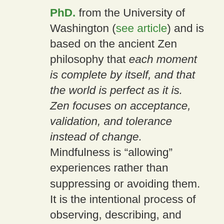PhD. from the University of Washington (see article) and is based on the ancient Zen philosophy that each moment is complete by itself, and that the world is perfect as it is. Zen focuses on acceptance, validation, and tolerance instead of change. Mindfulness is “allowing” experiences rather than suppressing or avoiding them. It is the intentional process of observing, describing, and participating in reality non-judgmentally, in the moment, and with effectiveness. Ethereal as it may sound, Linehan’s methods